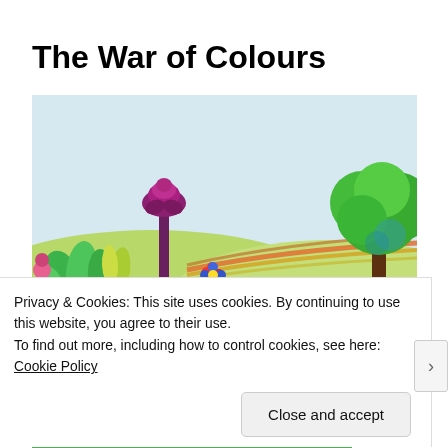The War of Colours
[Figure (illustration): Children's watercolour illustration showing a garden scene with green hills, a rainbow path, a tall dark purple flower/tree, green leafy plants on the left, blue and red flowers in the foreground, and a large green tree on the right side. Light blue sky background.]
Privacy & Cookies: This site uses cookies. By continuing to use this website, you agree to their use.
To find out more, including how to control cookies, see here: Cookie Policy
Close and accept